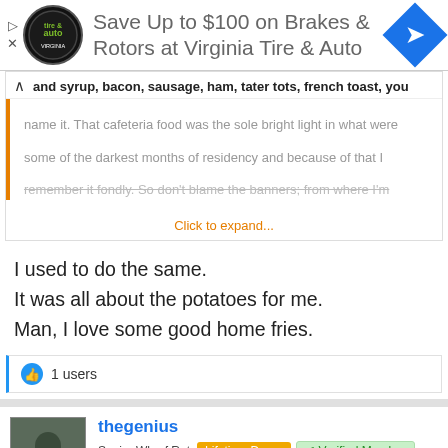[Figure (screenshot): Ad banner for Virginia Tire & Auto with logo and navigation arrow icon]
and syrup, bacon, sausage, ham, tater tots, french toast, you name it. That cafeteria food was the sole bright light in what were some of the darkest months of residency and because of that I remember it fondly. So don't blame the banners; from where I'm
Click to expand...
I used to do the same.
It was all about the potatoes for me.
Man, I love some good home fries.
1 users
thegenius
Senior Wharf Rat  Lifetime Donor  ✔ Verified Member  15+ Year Member  Gold Donor
May 14, 2020   #20